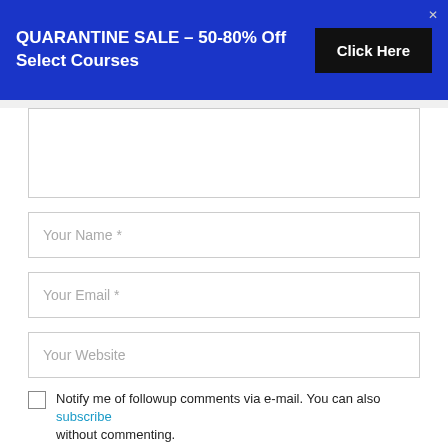QUARANTINE SALE – 50-80% Off Select Courses | Click Here
[Figure (screenshot): Comment form text area (empty)]
Your Name *
Your Email *
Your Website
Notify me of followup comments via e-mail. You can also subscribe without commenting.
Submit